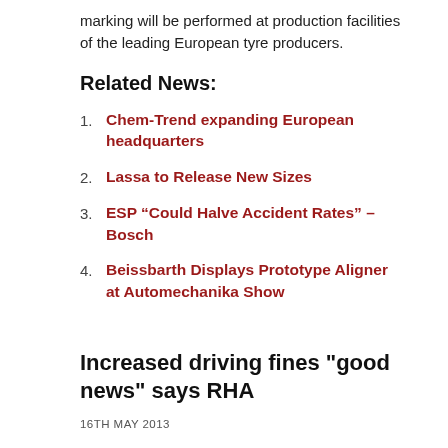marking will be performed at production facilities of the leading European tyre producers.
Related News:
Chem-Trend expanding European headquarters
Lassa to Release New Sizes
ESP “Could Halve Accident Rates” – Bosch
Beissbarth Displays Prototype Aligner at Automechanika Show
Increased driving fines "good news" says RHA
16TH MAY 2013
The Road Haulage Association welcomes the news that Transport Minister Patrick McLoughlin is considering increasing the fine for dangerous driving